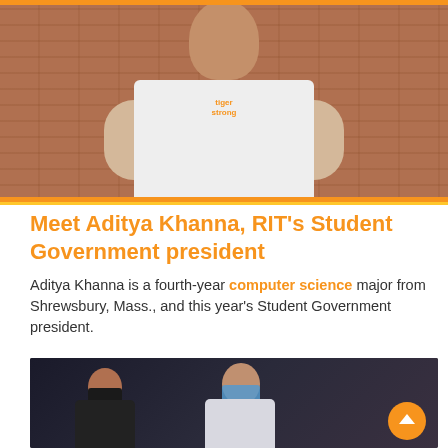[Figure (photo): Photo of Aditya Khanna wearing a white 'tiger strong' t-shirt, standing in front of a brick wall]
Meet Aditya Khanna, RIT's Student Government president
Aditya Khanna is a fourth-year computer science major from Shrewsbury, Mass., and this year's Student Government president.
August 8, 2022
[Figure (photo): Photo of two students wearing masks outdoors]